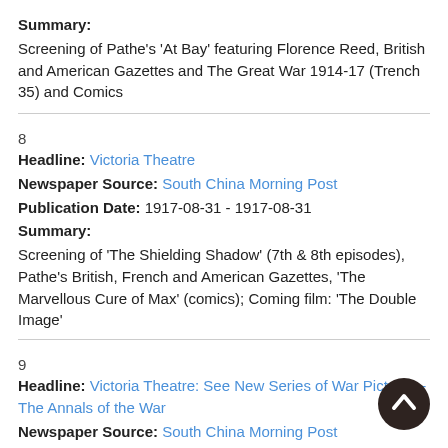Summary:
Screening of Pathe's 'At Bay' featuring Florence Reed, British and American Gazettes and The Great War 1914-17 (Trench 35) and Comics
8
Headline: Victoria Theatre
Newspaper Source: South China Morning Post
Publication Date: 1917-08-31 - 1917-08-31
Summary:
Screening of 'The Shielding Shadow' (7th & 8th episodes), Pathe's British, French and American Gazettes, 'The Marvellous Cure of Max' (comics); Coming film: 'The Double Image'
9
Headline: Victoria Theatre: See New Series of War Pictures - The Annals of the War
Newspaper Source: South China Morning Post
Publication Date: 1917-09-15 - 1917-09-15
Summary: